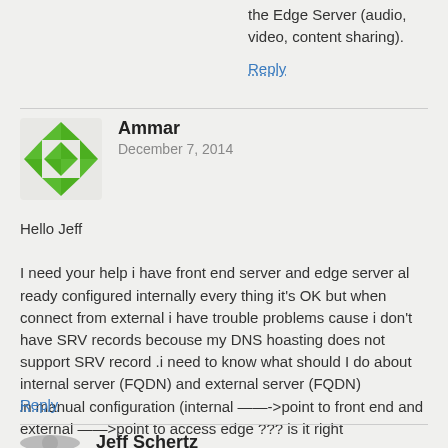the Edge Server (audio, video, content sharing).
Reply
Ammar
December 7, 2014
Hello Jeff

I need your help i have front end server and edge server al ready configured internally every thing it's OK but when connect from external i have trouble problems cause i don't have SRV records becouse my DNS hoasting does not support SRV record .i need to know what should I do about internal server (FQDN) and external server (FQDN)
in manual configuration (internal ——->point to front end and external ——>point to access edge ??? is it right
Reply
Jeff Schertz